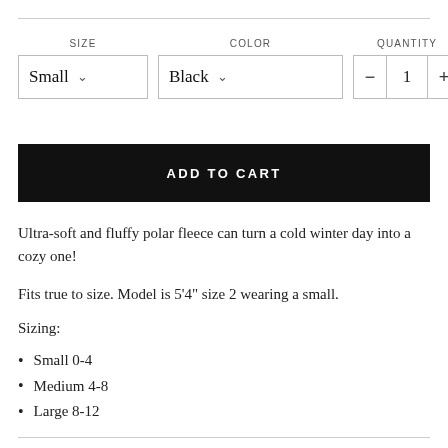SIZE
COLOR
QUANTITY
Small ∨
Black ∨
- 1 +
ADD TO CART
Ultra-soft and fluffy polar fleece can turn a cold winter day into a cozy one!
Fits true to size. Model is 5'4" size 2 wearing a small.
Sizing:
Small 0-4
Medium 4-8
Large 8-12